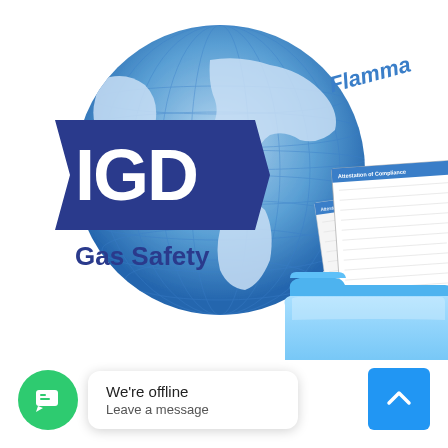[Figure (logo): IGD Gas Safety company logo with globe graphic in blue showing world map, IGD letters in white on dark blue chevron shape, text 'Gas Safety' below. In the upper right, partial text 'Flamma...' in blue italic. In the center-right area, documents labeled 'Attestation of Compliance' overlapping a blue folder graphic.]
We're offline
Leave a message